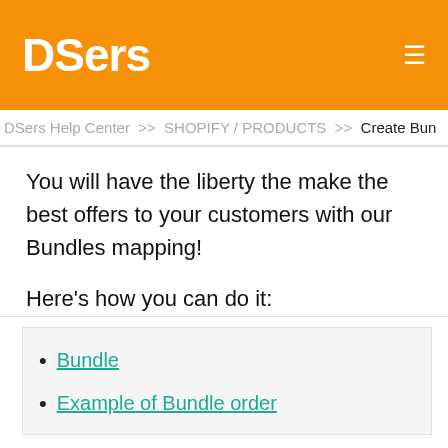DSers
DSers Help Center >> SHOPIFY / PRODUCTS >> Create Bun
You will have the liberty the make the best offers to your customers with our Bundles mapping!
Here's how you can do it:
Bundle
Example of Bundle order